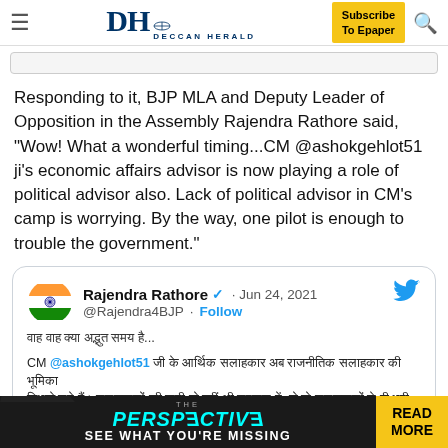DH DECCAN HERALD | Subscribe To Epaper
Responding to it, BJP MLA and Deputy Leader of Opposition in the Assembly Rajendra Rathore said, "Wow! What a wonderful timing...CM @ashokgehlot51 ji's economic affairs advisor is now playing a role of political advisor also. Lack of political advisor in CM's camp is worrying. By the way, one pilot is enough to trouble the government."
[Figure (screenshot): Tweet from @Rajendra4BJP (Rajendra Rathore) dated Jun 24, 2021 with Indian flag profile picture, verified badge, Follow button, Twitter bird icon, Hindi text tweet content mentioning @ashokgehlot51]
[Figure (infographic): Bottom advertisement banner: THE PERSPECTIVE - SEE WHAT YOU'RE MISSING | READ MORE]